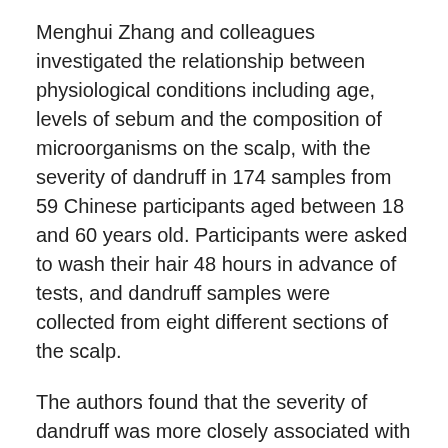Menghui Zhang and colleagues investigated the relationship between physiological conditions including age, levels of sebum and the composition of microorganisms on the scalp, with the severity of dandruff in 174 samples from 59 Chinese participants aged between 18 and 60 years old. Participants were asked to wash their hair 48 hours in advance of tests, and dandruff samples were collected from eight different sections of the scalp.
The authors found that the severity of dandruff was more closely associated with the species of bacteria present on the scalp than with fungi. The most abundant species of bacteria found on the scalp - Propionibacterium and Staphylococcus - showed reciprocal inhibition of each other and affected the severity of dandruff. When dandruff was present, levels of Propionibacterium in the region had decreased and levels of Staphylococcus had increased, in comparison to a normal